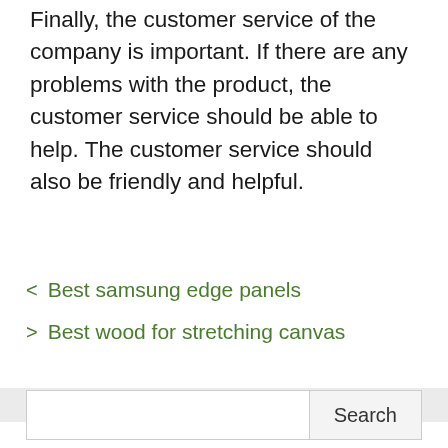Finally, the customer service of the company is important. If there are any problems with the product, the customer service should be able to help. The customer service should also be friendly and helpful.
< Best samsung edge panels
> Best wood for stretching canvas
Search